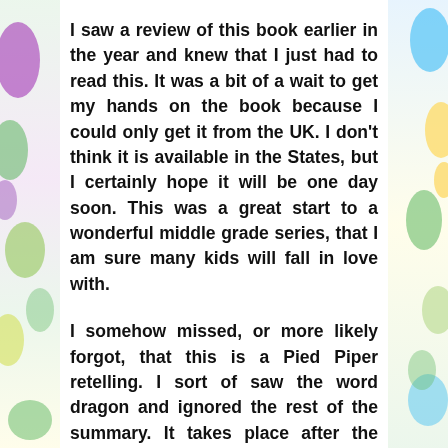I saw a review of this book earlier in the year and knew that I just had to read this. It was a bit of a wait to get my hands on the book because I could only get it from the UK. I don't think it is available in the States, but I certainly hope it will be one day soon. This was a great start to a wonderful middle grade series, that I am sure many kids will fall in love with.
I somehow missed, or more likely forgot, that this is a Pied Piper retelling. I sort of saw the word dragon and ignored the rest of the summary. It takes place after the incident at Hamelin, but the Piper of that story does come into this one. In this retelling he is even